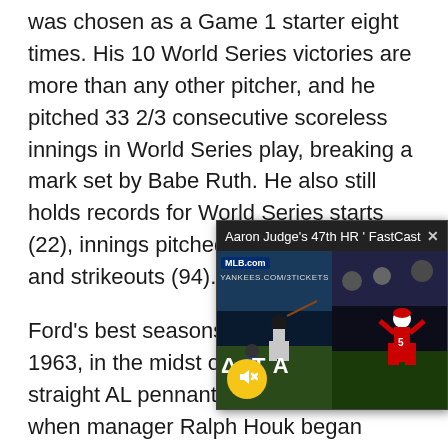exemplified by his record in the World Series, where he was chosen as a Game 1 starter eight times. His 10 World Series victories are more than any other pitcher, and he pitched 33 2/3 consecutive scoreless innings in World Series play, breaking a mark set by Babe Ruth. He also still holds records for World Series starts (22), innings pitched (146), wins (10) and strikeouts (94).
Ford's best seasons came in 1961 and 1963, in the midst of a stretch of five straight AL pennants for the Yankees, when manager Ralph Houk began using a four-man rotation instead of five. Ford led the league in wins with 25 in 1961, won the Cy Young Award and was named World Series MVP after the Yankees defeated the Cincinnati. In 1963, he won 24 games and again led in wins. Eight of his victories were shutouts. Ford also led the AL in earned run average twice, in 1958 (2.01)
[Figure (screenshot): Video popup overlay showing 'Aaron Judge's 47th HR FastCast' with MLB.com branding, two baseball game images side by side, a yellow mute button, and a close (x) button.]